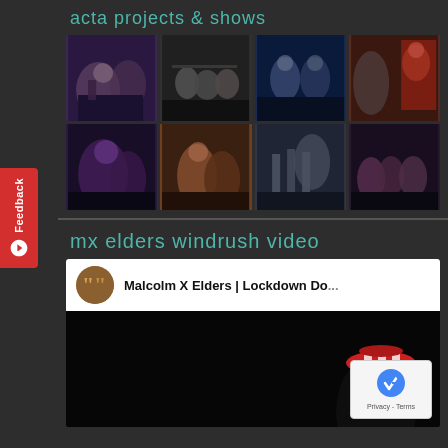acta projects & shows
[Figure (photo): Grid of 8 theatre performance photos showing various stage productions with performers in costume]
mx elders windrush video
[Figure (screenshot): Embedded YouTube video showing Malcolm X Elders | Lockdown Do... with channel icon and dark video preview with a figure in colorful hat. reCAPTCHA Privacy - Terms overlay visible.]